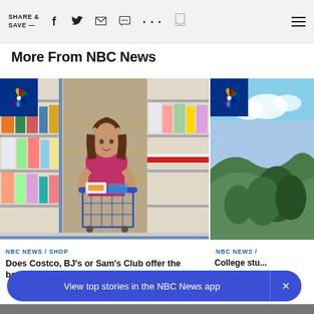SHARE & SAVE — [social icons: Facebook, Twitter, Email, Message, More, Bookmark, Menu]
More From NBC News
[Figure (photo): Woman pushing a shopping cart through a warehouse store aisle lined with products, with NBC News peacock logo overlay in top-left corner]
NBC NEWS / SHOP
Does Costco, BJ's or Sam's Club offer the best...
[Figure (photo): Outdoor landscape photo with trees and sky, with NBC News peacock logo overlay in top-left corner]
NBC NEWS /
College stu... oman pr
View top stories in the NBC News app